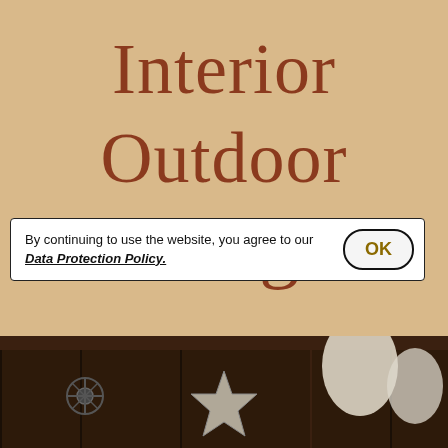Interior Outdoor Design
By continuing to use the website, you agree to our Data Protection Policy.
[Figure (photo): Bottom strip showing an interior/outdoor decoration scene with a metal star ornament and hanging lantern/balloon decorations against a dark wooden background.]